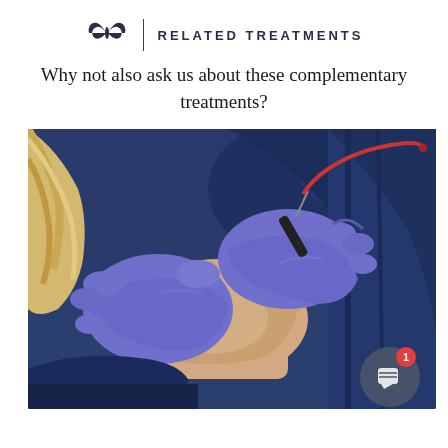RELATED TREATMENTS
Why not also ask us about these complementary treatments?
[Figure (photo): A healthcare professional wearing purple nitrile gloves performing a skin treatment procedure on a patient. The practitioner is holding a pen-like electrolysis or electrocautery device with a thin needle tip and a red-handled cable/wire. The patient is lying down covered with dark navy blue towels. The image shows a close-up of the procedure being applied to the patient's skin area.]